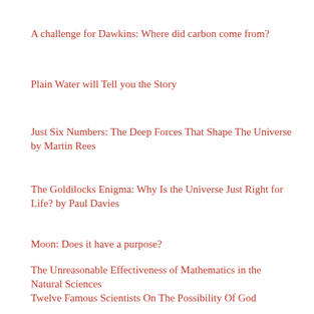A challenge for Dawkins: Where did carbon come from?
Plain Water will Tell you the Story
Just Six Numbers: The Deep Forces That Shape The Universe by Martin Rees
The Goldilocks Enigma: Why Is the Universe Just Right for Life? by Paul Davies
Moon: Does it have a purpose?
The Unreasonable Effectiveness of Mathematics in the Natural Sciences
Twelve Famous Scientists On The Possibility Of God